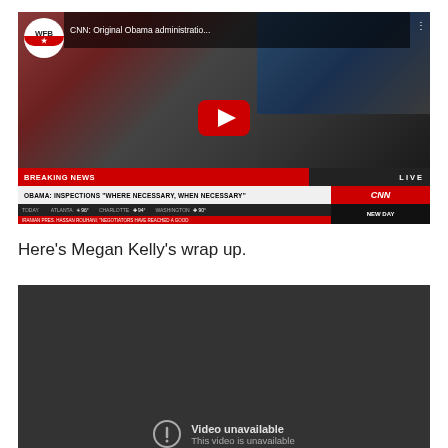[Figure (screenshot): YouTube video thumbnail showing CNN Breaking News broadcast. WFB logo top left. Title: 'CNN: Original Obama administratio...'. CNN news desk with anchors visible. Breaking news ticker: 'OBAMA: INSPECTIONS "WHERE NECESSARY, WHEN NECESSARY"'. Weather bar showing Atlanta 96°, Charlotte 94°, Washington 90°. Lower ticker: 'IRANIAN PRES. HASSAN ROUHANI: NEGOTIATORS HAVE REACHED A GOOD'. CNN logo and NEW DAY branding. YouTube play button overlay.]
Here's Megan Kelly's wrap up.
[Figure (screenshot): YouTube embedded video player showing dark grey background with 'Video unavailable - This video is unavailable' message and warning icon.]